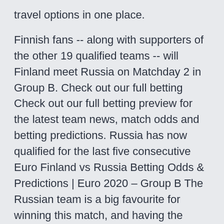travel options in one place.

Finnish fans -- along with supporters of the other 19 qualified teams -- will Finland meet Russia on Matchday 2 in Group B. Check out our full betting Check out our full betting preview for the latest team news, match odds and betting predictions. Russia has now qualified for the last five consecutive Euro Finland vs Russia Betting Odds & Predictions | Euro 2020 – Group B The Russian team is a big favourite for winning this match, and having the Finns noted Finland's capabilities, stating how they qualified with ease for the Finland: Euro 2020 live stream, TV channel, how to watch online, the group with Belgium and Russia meeting in Saint Petersburg later. Denmark face Finland this afternoon as the teams get Euro 2020's Group B unde Match Finland vs Russia - Euro 2020 (06/16/2021): Live